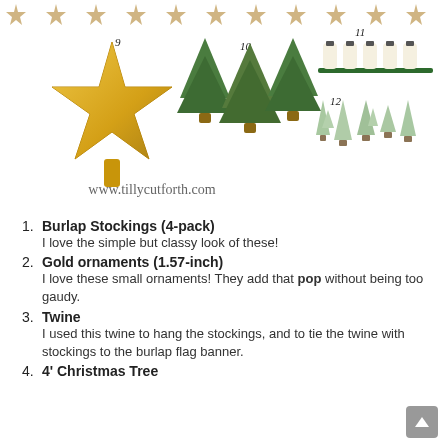[Figure (illustration): Collage of Christmas decoration product photos numbered 9-12: item 9 is a gold glitter star tree topper, item 10 is a set of small potted pine trees, item 11 is a string of clear Christmas lights on green wire, item 12 is a set of small bottle brush trees. Stars banner decorates the top.]
www.tillycutforth.com
1. Burlap Stockings (4-pack) — I love the simple but classy look of these!
2. Gold ornaments (1.57-inch) — I love these small ornaments! They add that pop without being too gaudy.
3. Twine — I used this twine to hang the stockings, and to tie the twine with stockings to the burlap flag banner.
4. 4' Christmas Tree